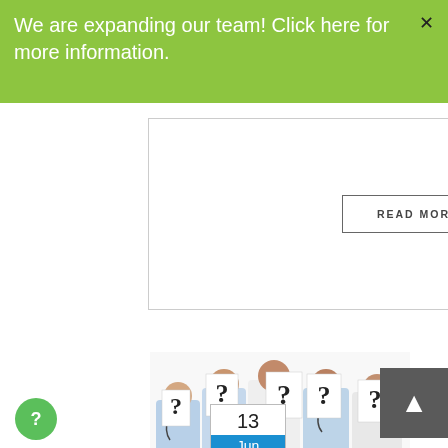We are expanding our team! Click here for more information.
READ MORE
[Figure (photo): Five medical professionals in scrubs and white coats holding up white cards/papers with question marks covering their faces, standing against a white background.]
13
Jun